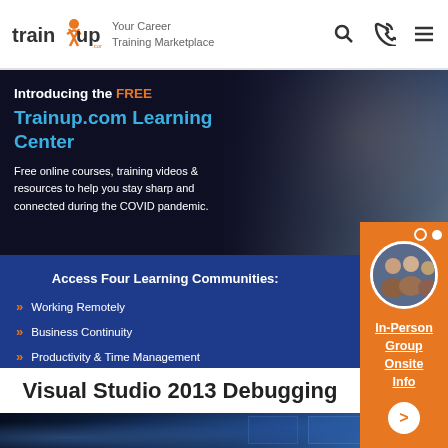[Figure (logo): TrainUp.com logo with orange figure and tagline 'Your Career Training Marketplace']
[Figure (infographic): Banner with woman on laptop, text introducing free Trainup.com Learning Center for COVID pandemic resources]
Introducing the FREE
Trainup.com Learning Center
Free online courses, training videos & resources to help you stay sharp and connected during the COVID pandemic.
Access Four Learning Communities:
Working Remotely
Business Continuity
Productivity & Time Management
Change & Stress Management
[Figure (photo): Circular photo of group of people, with orange sidebar showing 'In-Person Group Onsite Info' link]
Visual Studio 2013 Debugging
[Figure (photo): Woman with glasses looking at computer monitors in dark blue tech environment]